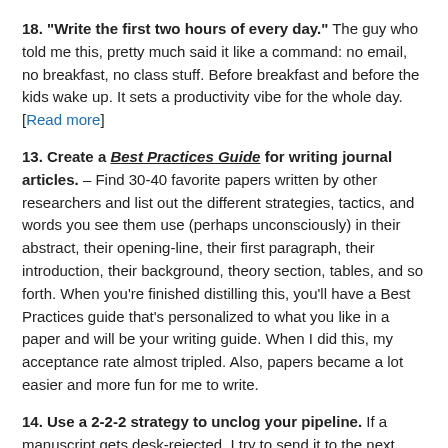18. "Write the first two hours of every day." The guy who told me this, pretty much said it like a command: no email, no breakfast, no class stuff. Before breakfast and before the kids wake up. It sets a productivity vibe for the whole day. [Read more]
13. Create a Best Practices Guide for writing journal articles. – Find 30-40 favorite papers written by other researchers and list out the different strategies, tactics, and words you see them use (perhaps unconsciously) in their abstract, their opening-line, their first paragraph, their introduction, their background, theory section, tables, and so forth. When you're finished distilling this, you'll have a Best Practices guide that's personalized to what you like in a paper and will be your writing guide. When I did this, my acceptance rate almost tripled. Also, papers became a lot easier and more fun for me to write.
14. Use a 2-2-2 strategy to unclog your pipeline. If a manuscript gets desk-rejected, I try to send it to the next journal within 2 days. If it gets conditionally accepted, I revise it and send it back within 2 weeks. If it gets a revise-and-resubmit that doesn't require additional data, I submit it within 2 months.